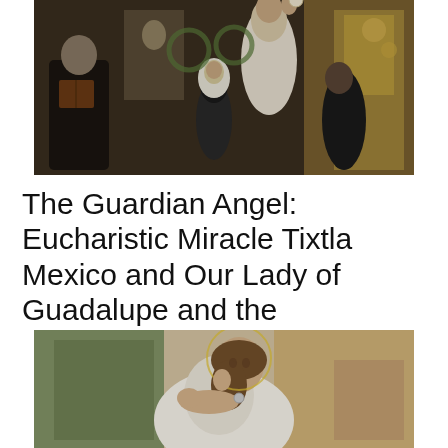[Figure (illustration): Religious painting showing a priest in white vestments elevating the Eucharist, with a nun in white veil and other figures in a church setting. An elderly man reads from a book on the left.]
The Guardian Angel: Eucharistic Miracle Tixtla Mexico and Our Lady of Guadalupe and the
[Figure (illustration): Romantic religious painting of a young woman with a halo, dressed in white, reclining pensively with greenery in the background.]